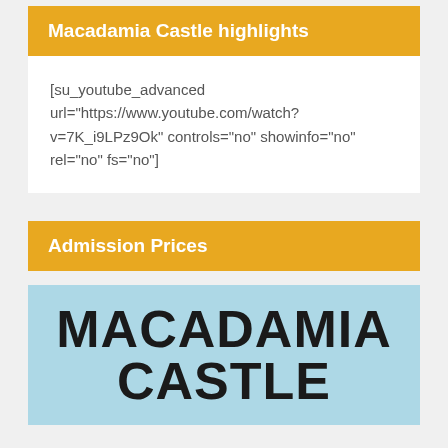Macadamia Castle highlights
[su_youtube_advanced url="https://www.youtube.com/watch?v=7K_i9LPz9Ok" controls="no" showinfo="no" rel="no" fs="no"]
Admission Prices
[Figure (other): Blue background with large bold text reading MACADAMIA CASTLE]